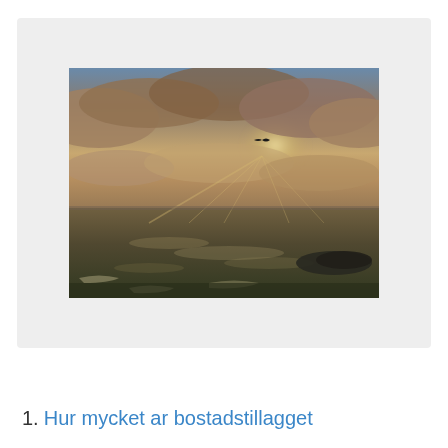[Figure (photo): A dramatic seascape photograph showing an overcast sky with warm brownish-golden tones, rays of sunlight breaking through clouds over a dark ocean. A bird is visible in the sky. A dark rocky formation is visible in the lower right. The image has a moody, high-contrast tonal treatment.]
1. Hur mycket ar bostadstillagget